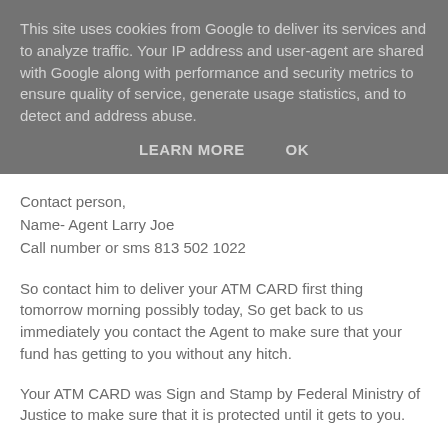This site uses cookies from Google to deliver its services and to analyze traffic. Your IP address and user-agent are shared with Google along with performance and security metrics to ensure quality of service, generate usage statistics, and to detect and address abuse.
LEARN MORE   OK
Contact person,
Name- Agent Larry Joe
Call number or sms 813 502 1022
So contact him to deliver your ATM CARD first thing tomorrow morning possibly today, So get back to us immediately you contact the Agent to make sure that your fund has getting to you without any hitch.
Your ATM CARD was Sign and Stamp by Federal Ministry of Justice to make sure that it is protected until it gets to you.
Regards